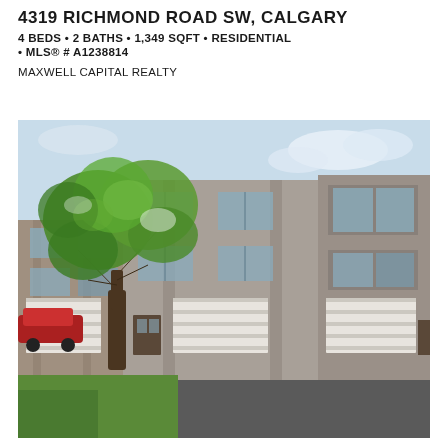4319 RICHMOND ROAD SW, CALGARY
4 BEDS • 2 BATHS • 1,349 SQFT • RESIDENTIAL
• MLS® # A1238814
MAXWELL CAPITAL REALTY
[Figure (photo): Exterior front view of a multi-unit townhouse complex with grey stucco siding, white garage doors, multiple floors, and a large tree in the foreground on a green lawn. A red car is parked on the left side. Overcast sky with some blue patches visible.]